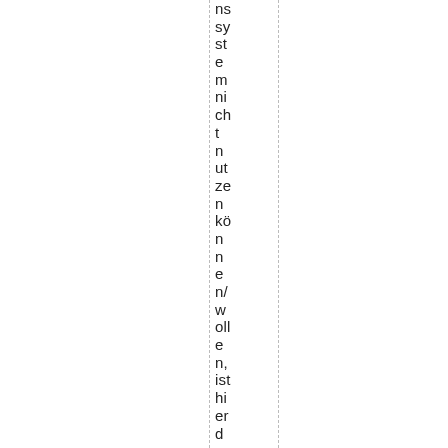ns sy st e m ni ch t n ut ze n kö n n e n/ w oll e n, ist hi er d er e n In h